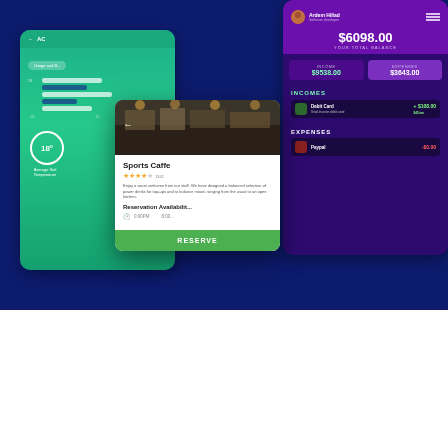[Figure (screenshot): Dark blue background with multiple overlapping mobile app UI mockups: a green finance/weather app, a purple financial dashboard showing $6098.00 total balance, income $9538.00 and expenses $3643.00, a restaurant popup card for 'Sports Caffe' with a RESERVE button, and a photo of a restaurant interior.]
[Figure (logo): Four brand logos on white background: BRICKLOGO (bold black uppercase with 'DESIGN' subtitle), mOali (lowercase stylized), STERLING Claims Service (with dot icon), YPMC (bold in rectangle border)]